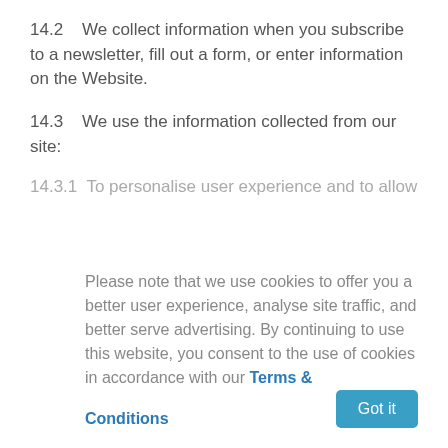14.2    We collect information when you subscribe to a newsletter, fill out a form, or enter information on the Website.
14.3    We use the information collected from our site:
14.3.1  To personalise user experience and to allow...
Please note that we use cookies to offer you a better user experience, analyse site traffic, and better serve advertising. By continuing to use this website, you consent to the use of cookies in accordance with our Terms & Conditions